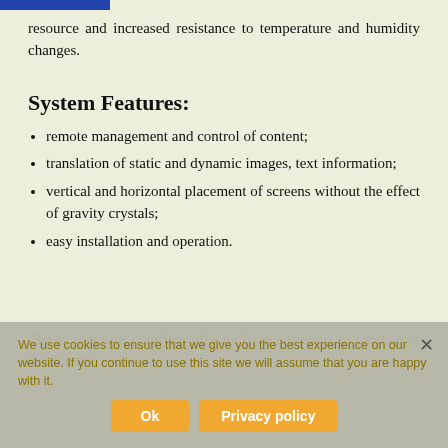resource and increased resistance to temperature and humidity changes.
System Features:
remote management and control of content;
translation of static and dynamic images, text information;
vertical and horizontal placement of screens without the effect of gravity crystals;
easy installation and operation.
The system uses certified software from Samsung, LG and other leading ma...
We use cookies to ensure that we give you the best experience on our website. If you continue to use this site we will assume that you are happy with it.